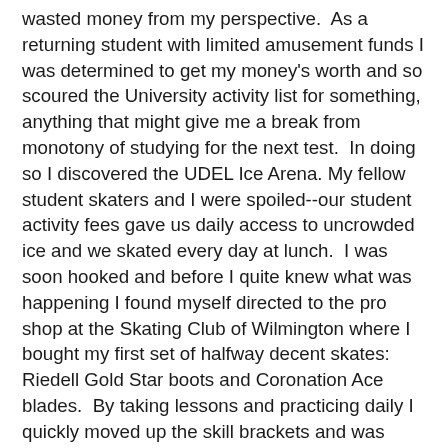wasted money from my perspective.  As a returning student with limited amusement funds I was determined to get my money's worth and so scoured the University activity list for something, anything that might give me a break from monotony of studying for the next test.  In doing so I discovered the UDEL Ice Arena. My fellow student skaters and I were spoiled--our student activity fees gave us daily access to uncrowded ice and we skated every day at lunch.  I was soon hooked and before I quite knew what was happening I found myself directed to the pro shop at the Skating Club of Wilmington where I bought my first set of halfway decent skates: Riedell Gold Star boots and Coronation Ace blades.  By taking lessons and practicing daily I quickly moved up the skill brackets and was close to testing at the first level of free style.  However that was to be my high water mark for about that same time I had to prepare for my thesis defense and then, after successfully completing my MS, I moved down to Maryland in 1981 to start on a PhD in genetics.  The University of Maryland didn't have an ice rink and I didn't have time even if the University indeed had had one.  I got on with my degree research and didn't think too deeply about my rapidly eroding skating